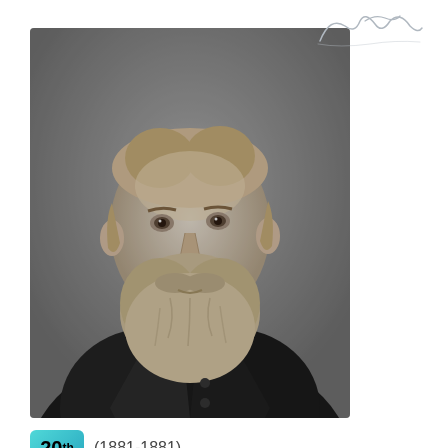[Figure (photo): Black and white portrait photograph of a bearded man in a dark suit with bow tie, facing slightly left, likely a U.S. President from the 19th century.]
[Figure (illustration): Handwritten cursive signature in light gray/faint ink at the top right of the page.]
20th (1881-1881)
Terms: 0.14